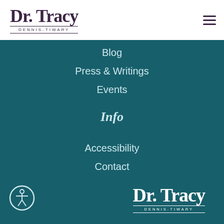[Figure (logo): Dr. Tracy Dennis-Tiwary logo in dark purple, serif font with decorative lines around subtitle]
[Figure (other): Hamburger menu icon (three horizontal lines) in dark purple]
Blog
Press & Writings
Events
Info
Accessibility
Contact
[Figure (other): Accessibility icon - circle with human figure symbol in white outline]
[Figure (logo): Dr. Tracy Dennis-Tiwary logo in white text on teal background]